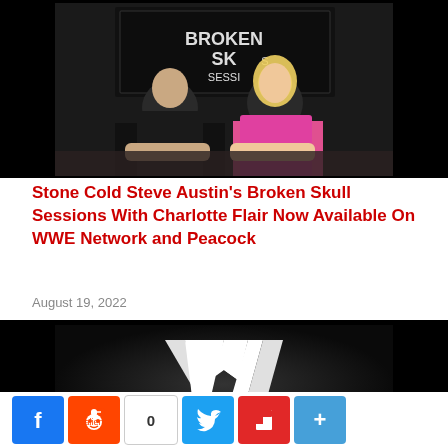[Figure (photo): Two people (a large bald man in black t-shirt and a blonde woman in pink top) seated at a table in front of a backdrop reading 'Broken Skull Sessions']
Stone Cold Steve Austin's Broken Skull Sessions With Charlotte Flair Now Available On WWE Network and Peacock
August 19, 2022
[Figure (logo): WWE logo — white stylized W with red base on dark background]